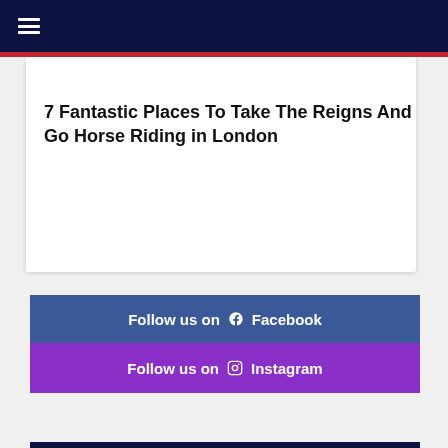≡
7 Fantastic Places To Take The Reigns And Go Horse Riding in London
Follow us on Facebook
Follow us on Instagram